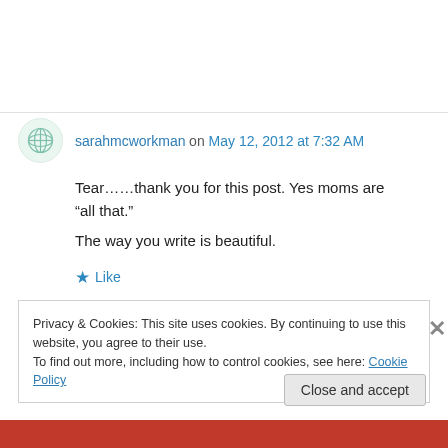sarahmcworkman on May 12, 2012 at 7:32 AM
Tear……thank you for this post. Yes moms are “all that.”
The way you write is beautiful.
★ Like
Privacy & Cookies: This site uses cookies. By continuing to use this website, you agree to their use.
To find out more, including how to control cookies, see here: Cookie Policy
Close and accept